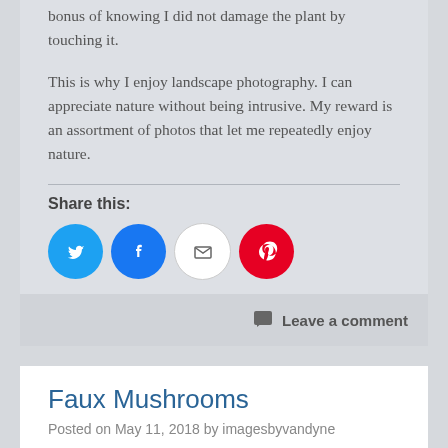bonus of knowing I did not damage the plant by touching it.
This is why I enjoy landscape photography. I can appreciate nature without being intrusive. My reward is an assortment of photos that let me repeatedly enjoy nature.
Share this:
[Figure (infographic): Social sharing icons: Twitter (blue circle), Facebook (blue circle), Email (grey circle with envelope), Pinterest (red circle)]
Loading...
Leave a comment
Faux Mushrooms
Posted on May 11, 2018 by imagesbyvandyne